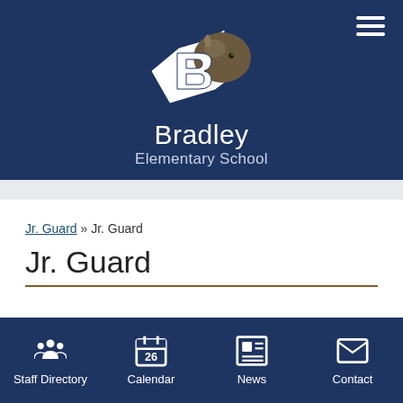[Figure (logo): Bradley Elementary School logo: stylized B with bison mascot on dark navy background]
Bradley Elementary School
Jr. Guard » Jr. Guard
Jr. Guard
Staff Directory | Calendar | News | Contact